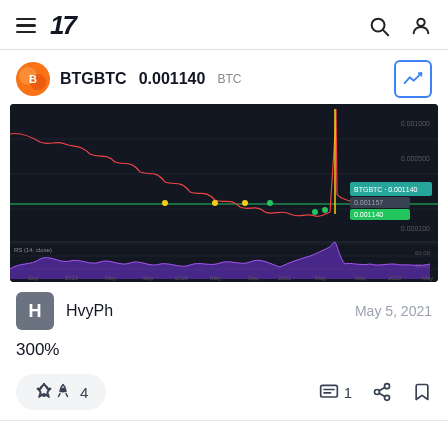TradingView navigation bar with hamburger menu, logo, search and user icons
BTGBTC 0.001140 BTC
[Figure (continuous-plot): BTGBTC candlestick/line chart on dark background from Sep 2018 to May 2022, showing a downtrend with a sharp spike upward around May 2021. RSI indicator shown below in purple.]
HvyPh — May 5, 2021
300%
🚀 4   💬 1   share   bookmark